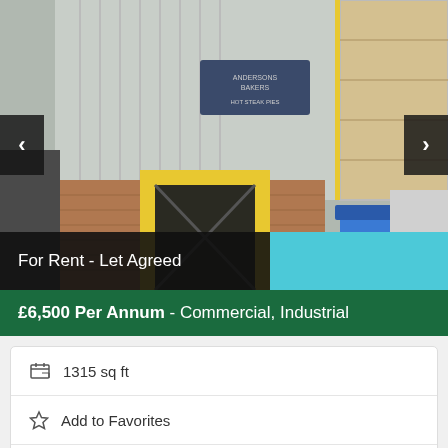[Figure (photo): Industrial/commercial building exterior showing yellow-framed doorway, corrugated metal facade, blue waste bin, and a white van. A sign reads 'Andersons Bakers Hot Steak Pies'.]
For Rent - Let Agreed
£6,500 Per Annum - Commercial, Industrial
1315 sq ft
Add to Favorites
Print